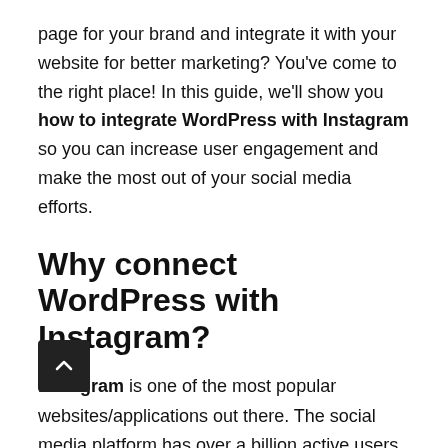page for your brand and integrate it with your website for better marketing? You've come to the right place! In this guide, we'll show you how to integrate WordPress with Instagram so you can increase user engagement and make the most out of your social media efforts.
Why connect WordPress with Instagram?
Instagram is one of the most popular websites/applications out there. The social media platform has over a billion active users. Almost everyone these days seems so used to the platform and owns one or more accounts on it. Additionally, social media marketing and influencer culture are massively empowered by Instagram. So, if you're